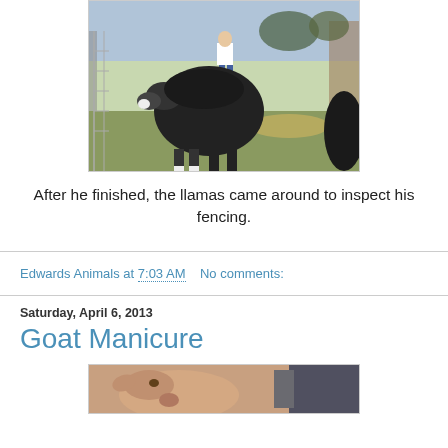[Figure (photo): A large black llama in an outdoor pen with chain-link fencing; a person in a white shirt stands in the background.]
After he finished, the llamas came around to inspect his fencing.
Edwards Animals at 7:03 AM    No comments:
Saturday, April 6, 2013
Goat Manicure
[Figure (photo): Close-up photo of a goat being examined or groomed, showing its face and a hand/tool nearby.]